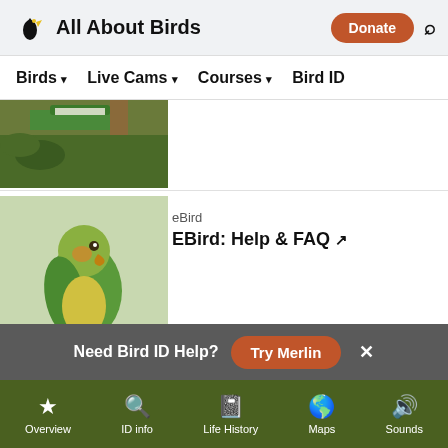All About Birds | Birds ▾  Live Cams ▾  Courses ▾  Bird ID
[Figure (photo): Partial view of a bird feeder with seeds in a tree]
[Figure (photo): Green parrot (parakeet) perched on a dark rail]
eBird
EBird: Help & FAQ ↗
[Figure (photo): Flock of Canada Geese in flight against a light blue sky]
Why Do Migrating Canada Geese Sometimes Fly In The "Wrong" Direction?
Need Bird ID Help?  Try Merlin
Overview  ID info  Life History  Maps  Sounds